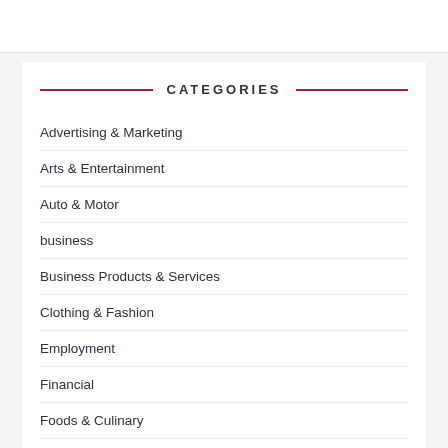CATEGORIES
Advertising & Marketing
Arts & Entertainment
Auto & Motor
business
Business Products & Services
Clothing & Fashion
Employment
Financial
Foods & Culinary
Gambling